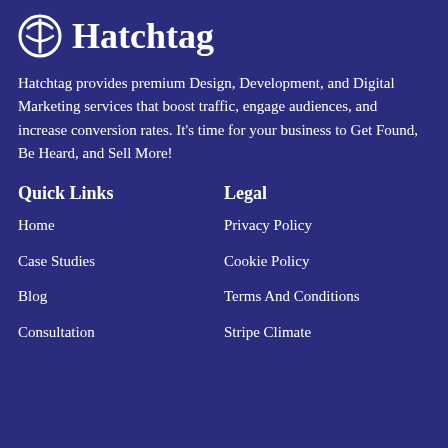Hatchtag
Hatchtag provides premium Design, Development, and Digital Marketing services that boost traffic, engage audiences, and increase conversion rates. It's time for your business to Get Found, Be Heard, and Sell More!
Quick Links
Legal
Home
Privacy Policy
Case Studies
Cookie Policy
Blog
Terms And Conditions
Consultation
Stripe Climate